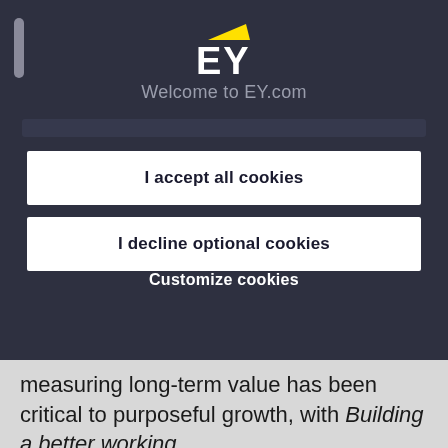[Figure (logo): EY logo with yellow triangle above bold white EY letters on dark background]
Welcome to EY.com
[blurred/obscured navigation text row]
I accept all cookies
I decline optional cookies
Customize cookies
measuring long-term value has been critical to purposeful growth, with Building a better working